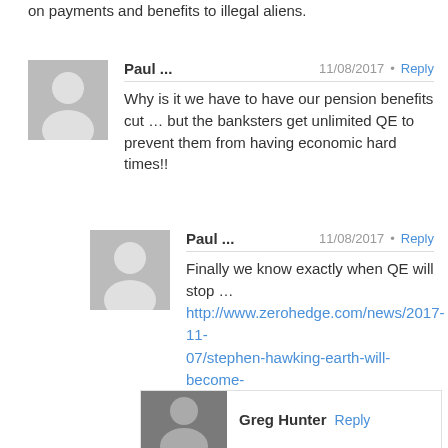on payments and benefits to illegal aliens.
Paul ...  11/08/2017  Reply
Why is it we have to have our pension benefits cut … but the banksters get unlimited QE to prevent them from having economic hard times!!
Paul ...  11/08/2017  Reply
Finally we know exactly when QE will stop … http://www.zerohedge.com/news/2017-11-07/stephen-hawking-earth-will-become-flaming-ball-fire-2600
Greg Hunter  Reply